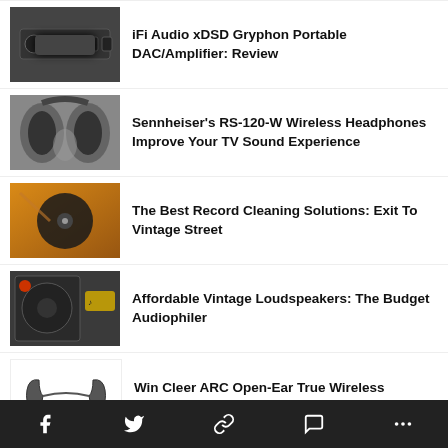iFi Audio xDSD Gryphon Portable DAC/Amplifier: Review
Sennheiser's RS-120-W Wireless Headphones Improve Your TV Sound Experience
The Best Record Cleaning Solutions: Exit To Vintage Street
Affordable Vintage Loudspeakers: The Budget Audiophiler
Win Cleer ARC Open-Ear True Wireless Earbuds ($129)
The Magical & Musical Research Of Hans Jenny, Creator Of Cymatics
Share icons: Facebook, Twitter, Link, Comment, More